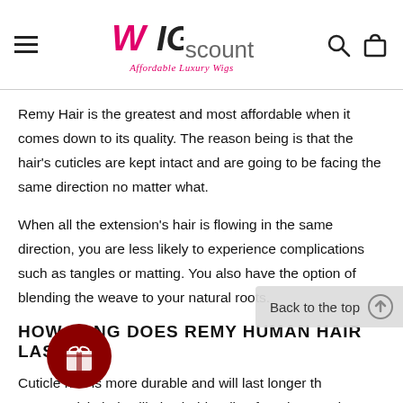WIGscount — Affordable Luxury Wigs
Remy Hair is the greatest and most affordable when it comes down to its quality. The reason being is that the hair's cuticles are kept intact and are going to be facing the same direction no matter what.
When all the extension's hair is flowing in the same direction, you are less likely to experience complications such as tangles or matting. You also have the option of blending the weave to your natural roots.
HOW LONG DOES REMY HUMAN HAIR LAST?
Cuticle hair is more durable and will last longer th... Remy cuticle hair will also hold styling from heat and chemical products be... cuticle will hold shape better than other hair extensions.
Always choose real Remy human hair extensions as you will be able to